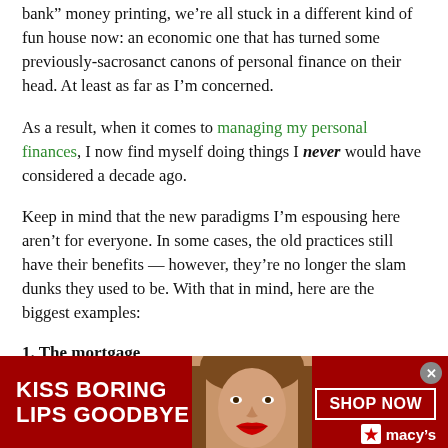bank money printing, we're all stuck in a different kind of fun house now: an economic one that has turned some previously-sacrosanct canons of personal finance on their head. At least as far as I'm concerned.
As a result, when it comes to managing my personal finances, I now find myself doing things I never would have considered a decade ago.
Keep in mind that the new paradigms I'm espousing here aren't for everyone. In some cases, the old practices still have their benefits — however, they're no longer the slam dunks they used to be. With that in mind, here are the biggest examples:
1. The mortgage
[Figure (other): Advertisement banner for Macy's: red background with woman's face, text 'KISS BORING LIPS GOODBYE', 'SHOP NOW' button, Macy's star logo]